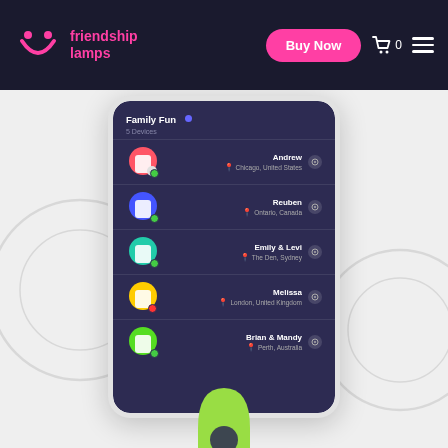friendship lamps — Buy Now — Cart 0 — Menu
[Figure (screenshot): Smartphone app screenshot showing 'Family Fun' group with 5 devices: Andrew (Chicago, United States), Reuben (Ontario, Canada), Emily & Levi (The Den, Sydney), Melissa (London, United Kingdom), Brian & Mandy (Perth, Australia). Each device row shows a colored lamp icon, name, location pin, and settings gear icon.]
[Figure (illustration): Partial friendship lamp illustration visible at bottom center of page, green colored, showing upper half of lamp shape]